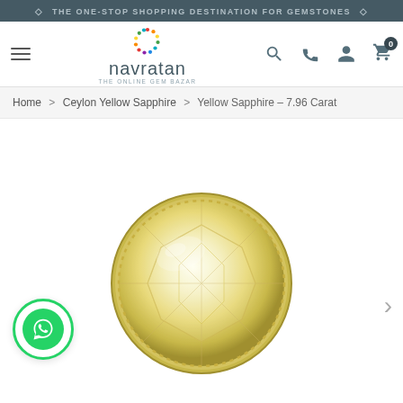THE ONE-STOP SHOPPING DESTINATION FOR GEMSTONES
[Figure (logo): Navratan - The Online Gem Bazar logo with colorful dot circle icon]
Home > Ceylon Yellow Sapphire > Yellow Sapphire - 7.96 Carat
[Figure (photo): Round faceted yellow sapphire gemstone, 7.96 carat, Ceylon origin, photographed on white background showing brilliant cut facets]
[Figure (other): WhatsApp contact button - green circular icon]